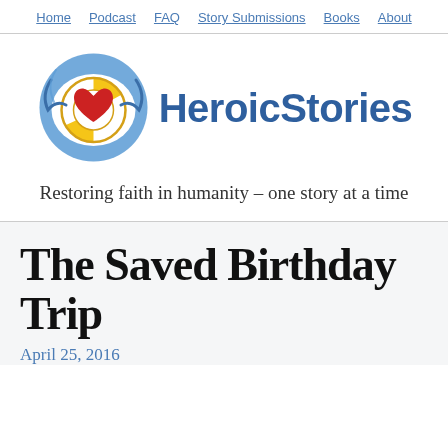Home  Podcast  FAQ  Story Submissions  Books  About
[Figure (logo): HeroicStories logo: circular emblem with a red heart, life preserver ring in yellow and white, surrounded by blue swirling waves, next to bold blue text reading HeroicStories]
Restoring faith in humanity – one story at a time
The Saved Birthday Trip
April 25, 2016